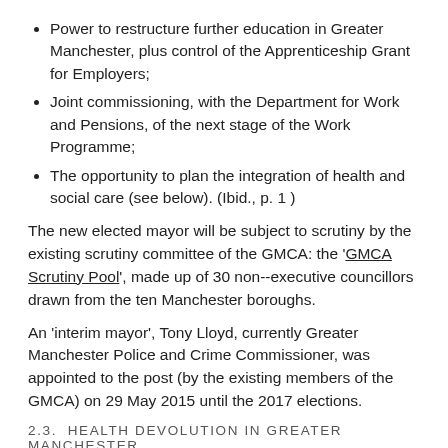Power to restructure further education in Greater Manchester, plus control of the Apprenticeship Grant for Employers;
Joint commissioning, with the Department for Work and Pensions, of the next stage of the Work Programme;
The opportunity to plan the integration of health and social care (see below). (Ibid., p. 1 )
The new elected mayor will be subject to scrutiny by the existing scrutiny committee of the GMCA: the 'GMCA Scrutiny Pool', made up of 30 non--executive councillors drawn from the ten Manchester boroughs.
An 'interim mayor', Tony Lloyd, currently Greater Manchester Police and Crime Commissioner, was appointed to the post (by the existing members of the GMCA) on 29 May 2015 until the 2017 elections.
2.3.  HEALTH DEVOLUTION IN GREATER MANCHESTER
The